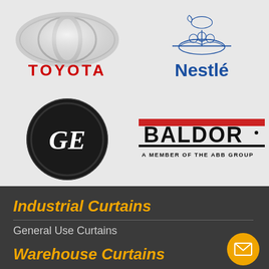[Figure (logo): Toyota logo with chrome emblem and red TOYOTA text below]
[Figure (logo): Nestlé logo with bird nest illustration and blue Nestlé text below]
[Figure (logo): GE (General Electric) black circle logo with white script GE monogram]
[Figure (logo): Baldor logo with red stripe and text BALDOR A MEMBER OF THE ABB GROUP]
Industrial Curtains
General Use Curtains
Warehouse Curtains